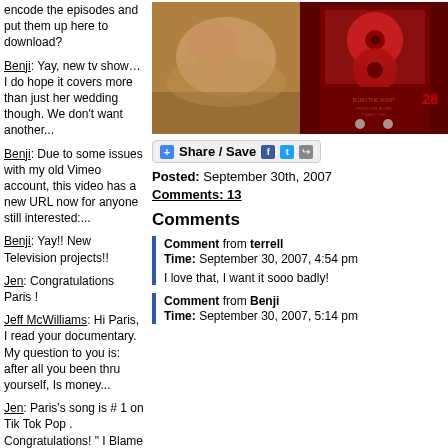encode the episodes and put them up here to download?
Benji: Yay, new tv show… I do hope it covers more than just her wedding though. We don't want another...
Benji: Due to some issues with my old Vimeo account, this video has a new URL now for anyone still interested:...
Benji: Yay!! New Television projects!!
Jen: Congratulations Paris !
Jeff McWilliams: Hi Paris, I read your documentary. My question to you is: after all you been thru yourself, Is money...
Jen: Paris's song is # 1 on Tik Tok Pop . Congratulations! " I Blame You" is a very catchy tune.
[Figure (photo): Two photos side by side: left shows a woman lying down, right shows an open CD/DVD box set with dark red design]
Share / Save
Posted: September 30th, 2007
Comments: 13
Comments
Comment from terrell
Time: September 30, 2007, 4:54 pm

I love that, I want it sooo badly!
Comment from Benji
Time: September 30, 2007, 5:14 pm